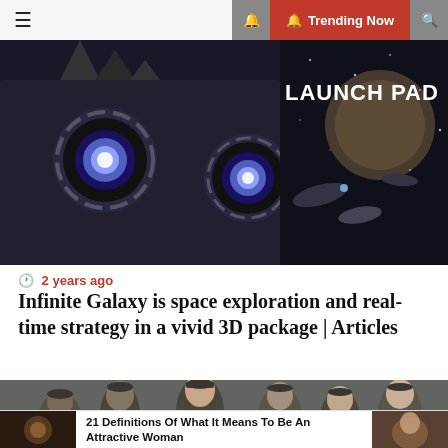☰  🔔 Trending Now 🔍
[Figure (photo): Sci-fi space game image with mechanical alien eyes and spacecraft, LAUNCH PAD text overlay]
🕐 2 years ago
Infinite Galaxy is space exploration and real-time strategy in a vivid 3D package | Articles
[Figure (photo): Group of soldiers or military recruits in uniform caps looking upward outdoors]
21 Definitions Of What It Means To Be An Attractive Woman